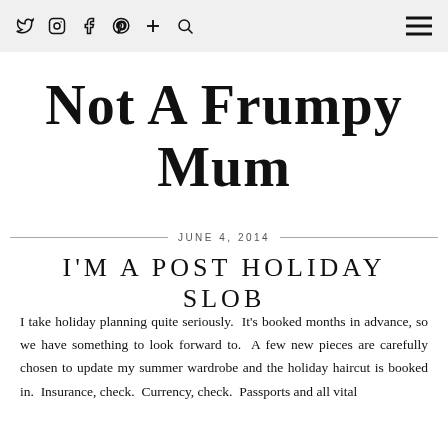Navigation bar with social icons: Twitter, Instagram, Facebook, Pinterest, Plus, Search, and hamburger menu
Not A Frumpy Mum
JUNE 4, 2014
I'M A POST HOLIDAY SLOB
I take holiday planning quite seriously.  It's booked months in advance, so we have something to look forward to.  A few new pieces are carefully chosen to update my summer wardrobe and the holiday haircut is booked in.  Insurance, check.  Currency, check.  Passports and all vital